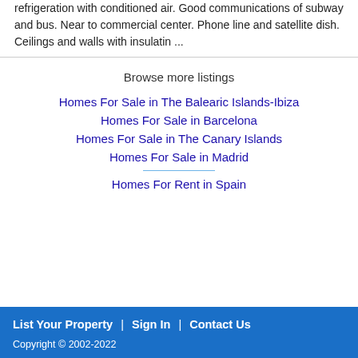refrigeration with conditioned air. Good communications of subway and bus. Near to commercial center. Phone line and satellite dish. Ceilings and walls with insulatin ...
Browse more listings
Homes For Sale in The Balearic Islands-Ibiza
Homes For Sale in Barcelona
Homes For Sale in The Canary Islands
Homes For Sale in Madrid
Homes For Rent in Spain
List Your Property  |  Sign In  |  Contact Us
Copyright ©  2002-2022